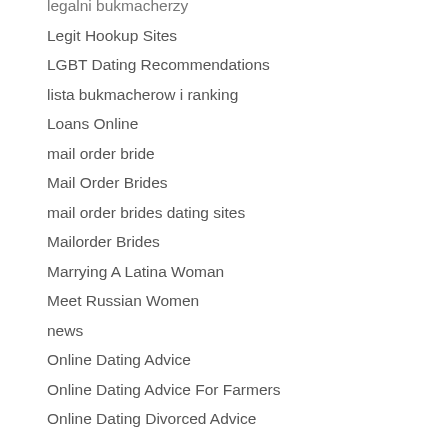legalni bukmacherzy
Legit Hookup Sites
LGBT Dating Recommendations
lista bukmacherow i ranking
Loans Online
mail order bride
Mail Order Brides
mail order brides dating sites
Mailorder Brides
Marrying A Latina Woman
Meet Russian Women
news
Online Dating Advice
Online Dating Advice For Farmers
Online Dating Divorced Advice